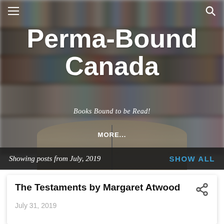[Figure (photo): Blurred bookshelf library background with open book in foreground, used as hero image for Perma-Bound Canada blog]
Perma-Bound Canada
Books Bound to be Read!
MORE...
Showing posts from July, 2019
SHOW ALL
The Testaments by Margaret Atwood
July 31, 2019